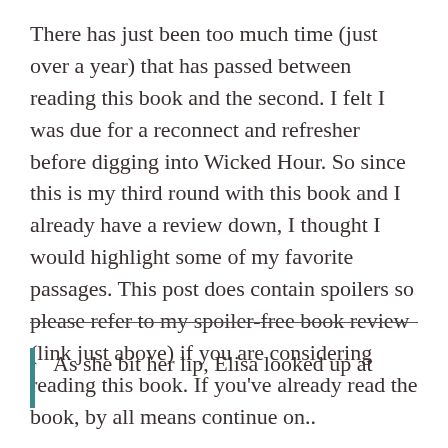There has just been too much time (just over a year) that has passed between reading this book and the second. I felt I was due for a reconnect and refresher before digging into Wicked Hour. So since this is my third round with this book and I already have a review down, I thought I would highlight some of my favorite passages. This post does contain spoilers so please refer to my spoiler-free book review (link just above) if you are considering reading this book. If you've already read the book, by all means continue on..
As she bit her lip, Elisa looked up at